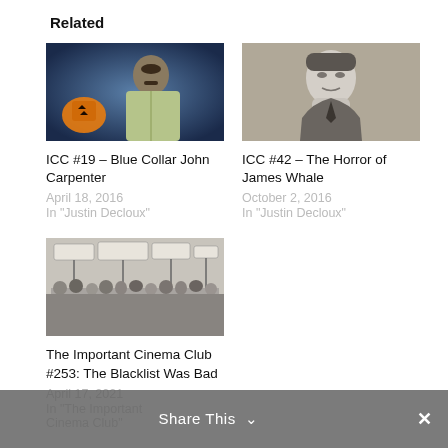Related
[Figure (photo): Color photo of a man in a light green jacket with a jack-o-lantern in background]
ICC #19 – Blue Collar John Carpenter
April 18, 2016
In "Justin Decloux"
[Figure (photo): Black and white photo of a man resting his chin on his hand]
ICC #42 – The Horror of James Whale
October 2, 2016
In "Justin Decloux"
[Figure (photo): Black and white photo of a group of people holding protest signs, Hollywood strike scene]
The Important Cinema Club #253: The Blacklist Was Bad
April 17, 2021
In "The Important Cinema Club"
Share This ∨  ✕